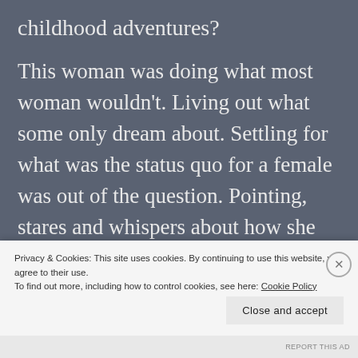childhood adventures?
This woman was doing what most woman wouldn't. Living out what some only dream about. Settling for what was the status quo for a female was out of the question. Pointing, stares and whispers about how she was not on the beaten path no longer mattered.
Privacy & Cookies: This site uses cookies. By continuing to use this website, you agree to their use.
To find out more, including how to control cookies, see here: Cookie Policy
Close and accept